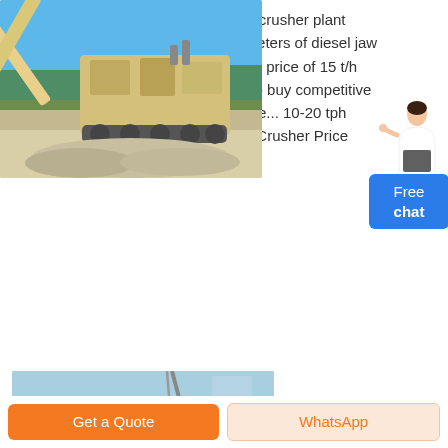What is suitable 50 tph Portable Jaw crusher plant South Afri... What are working parameters of diesel jaw crusher and diesel ... What is the cost price of 15 t/h mini diesel engine jaw crush... How to buy competitive price small diesel engine stone crushe... 10-20 tph PEC2540 Mobile Diesel Engine Jaw Crusher Price Min...
[Figure (photo): Photo of a large mobile/portable jaw crusher machine on a job site with blue sky background and crushed stone material in foreground]
[Figure (photo): Partial second photo showing blue sky and crusher equipment, cropped at bottom of page]